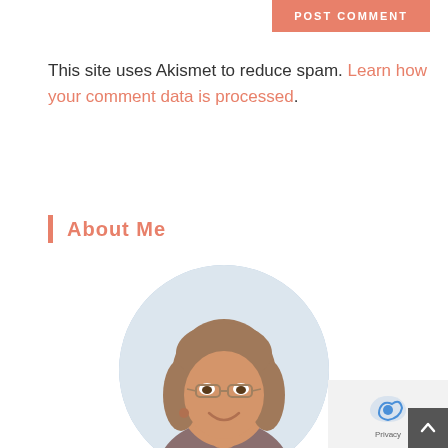POST COMMENT
This site uses Akismet to reduce spam. Learn how your comment data is processed.
About Me
[Figure (photo): Circular profile photo of a smiling woman with shoulder-length brown hair and glasses]